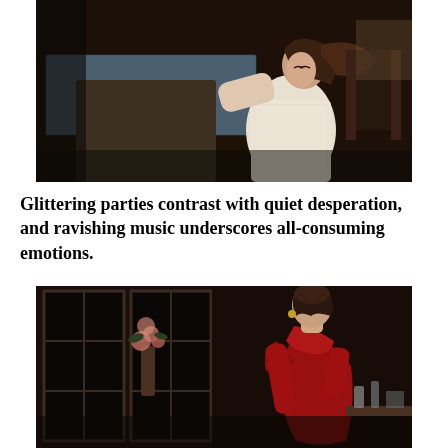[Figure (photo): A woman in a white lace dress kneels and leans against an ornate bed with a blue patterned coverlet in a dimly lit room, her face showing anguish or grief.]
Glittering parties contrast with quiet desperation, and ravishing music underscores all-consuming emotions.
[Figure (photo): A woman in a red off-shoulder gown with long red gloves stands in a dimly lit interior with large windows and flowers, on a stage set with bottles and glasses on a table nearby.]